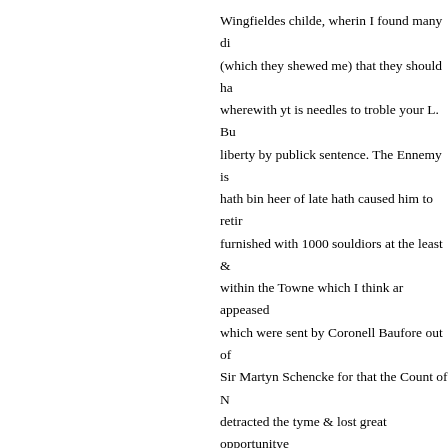Wingfieldes childe, wherin I found many di (which they shewed me) that they should ha wherewith yt is needles to troble your L. Bu liberty by publick sentence. The Ennemy is hath bin heer of late hath caused him to retir furnished with 1000 souldiors at the least & within the Towne which I think ar appeased which were sent by Coronell Baufore out of Sir Martyn Schencke for that the Count of N detracted the tyme & lost great opportunitye
fol.280r
Frieese that have raysed of late upon theyr c who hath promysed the States to Joyne hims our men alredy ar 2000 foote & 700 horse b Schenck hath undertaken. Yt is told me for c to the ayd of the Leaguers.
href="http://www.livesandletters.ac.uk/cell/Bodley/t